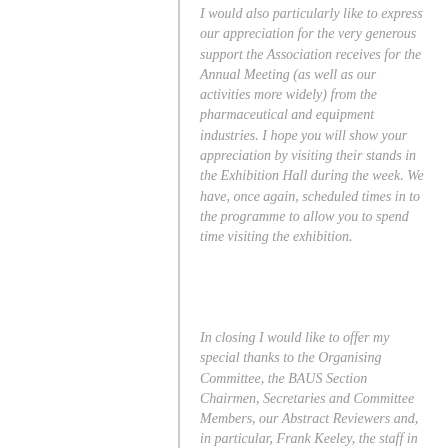I would also particularly like to express our appreciation for the very generous support the Association receives for the Annual Meeting (as well as our activities more widely) from the pharmaceutical and equipment industries. I hope you will show your appreciation by visiting their stands in the Exhibition Hall during the week. We have, once again, scheduled times in to the programme to allow you to spend time visiting the exhibition.
In closing I would like to offer my special thanks to the Organising Committee, the BAUS Section Chairmen, Secretaries and Committee Members, our Abstract Reviewers and, in particular, Frank Keeley, the staff in the BAUS Office